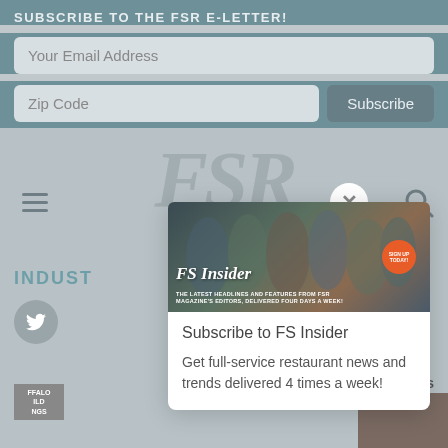SUBSCRIBE TO THE FSR E-LETTER!
Your Email Address
Zip Code
Subscribe
[Figure (screenshot): FSR magazine website background with large FSR logo watermark, hamburger menu icon, close button, search icon, INDUSTRY header, Twitter icon, sports label, and small logo]
[Figure (infographic): FS Insider newsletter banner showing people clinking glasses with text: FS Insider, SIGN UP TODAY!, THE LATEST HEADLINES AND FEATURES FROM FSR MAGAZINE'S EDITORS, DELIVERED FOUR DAYS A WEEK!]
Subscribe to FS Insider
Get full-service restaurant news and trends delivered 4 times a week!